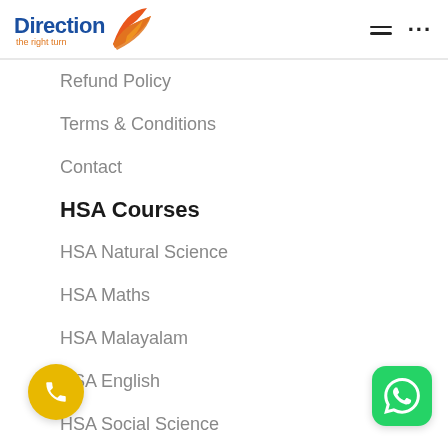[Figure (logo): Direction logo with orange arrow/wing graphic and tagline 'the right turn']
Refund Policy
Terms & Conditions
Contact
HSA Courses
HSA Natural Science
HSA Maths
HSA Malayalam
HSA English
HSA Social Science